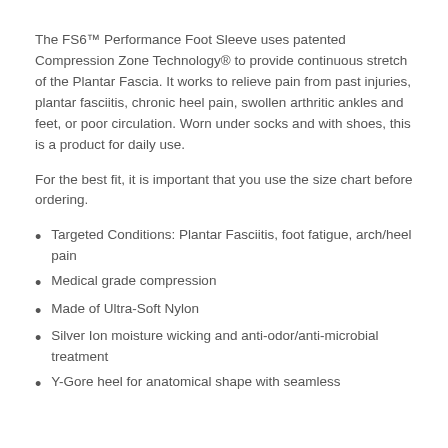The FS6™ Performance Foot Sleeve uses patented Compression Zone Technology® to provide continuous stretch of the Plantar Fascia. It works to relieve pain from past injuries, plantar fasciitis, chronic heel pain, swollen arthritic ankles and feet, or poor circulation. Worn under socks and with shoes, this is a product for daily use.
For the best fit, it is important that you use the size chart before ordering.
Targeted Conditions: Plantar Fasciitis, foot fatigue, arch/heel pain
Medical grade compression
Made of Ultra-Soft Nylon
Silver Ion moisture wicking and anti-odor/anti-microbial treatment
Y-Gore heel for anatomical shape with seamless